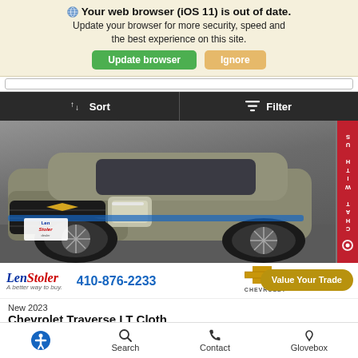Your web browser (iOS 11) is out of date. Update your browser for more security, speed and the best experience on this site.
Update browser | Ignore
Sort | Filter
[Figure (photo): Front-facing photo of a gray/khaki 2023 Chevrolet Traverse SUV with a Len Stoler dealership license plate frame, parked indoors]
LenStoler A better way to buy. 410-876-2233 Value Your Trade
New 2023
Chevrolet Traverse LT Cloth
Search  Contact  Glovebox